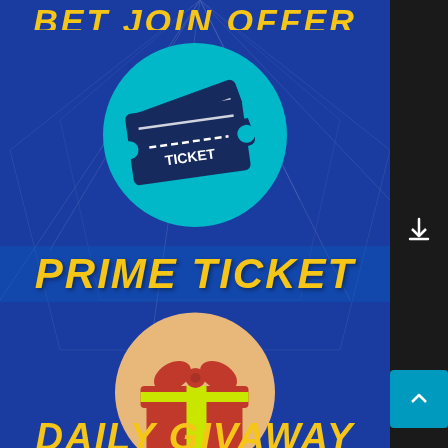PRIME TICKET
[Figure (illustration): Teal circle with dark navy ticket/admission stub icon showing TICKET text]
PRIME TICKET
[Figure (illustration): Orange/peach circle with red gift box icon with yellow ribbon]
DAILY GIVEAWAYS